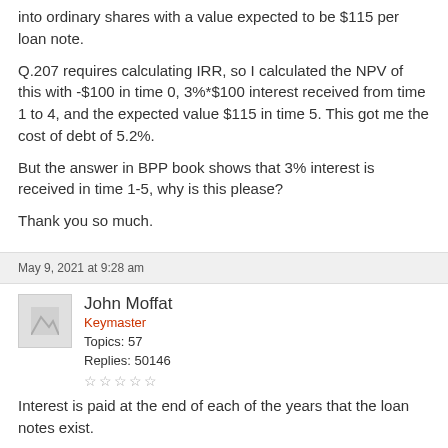into ordinary shares with a value expected to be $115 per loan note.
Q.207 requires calculating IRR, so I calculated the NPV of this with -$100 in time 0, 3%*$100 interest received from time 1 to 4, and the expected value $115 in time 5. This got me the cost of debt of 5.2%.
But the answer in BPP book shows that 3% interest is received in time 1-5, why is this please?
Thank you so much.
May 9, 2021 at 9:28 am
John Moffat
Keymaster
Topics: 57
Replies: 50146
Interest is paid at the end of each of the years that the loan notes exist.